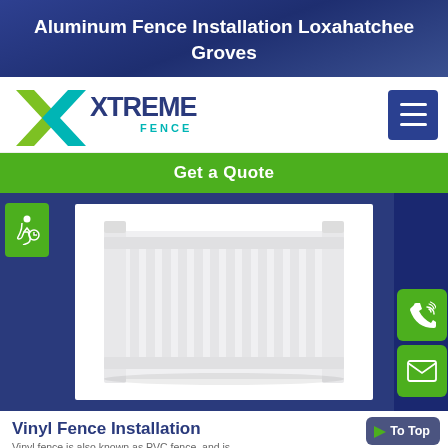Aluminum Fence Installation Loxahatchee Groves
[Figure (logo): Xtreme Fence logo with green and teal X mark and bold text]
[Figure (screenshot): Hamburger menu icon button (three white lines on dark blue square)]
Get a Quote
[Figure (photo): White vinyl privacy fence gate panel with decorative posts]
Vinyl Fence Installation
Vinyl fence is also known as PVC fence, and is...